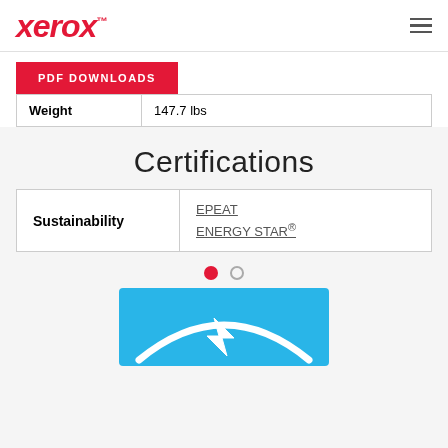xerox™
| Weight | 147.7 lbs |
Certifications
| Sustainability | EPEAT
ENERGY STAR® |
[Figure (logo): Energy Star logo — blue background with white star/lightning bolt arc symbol]